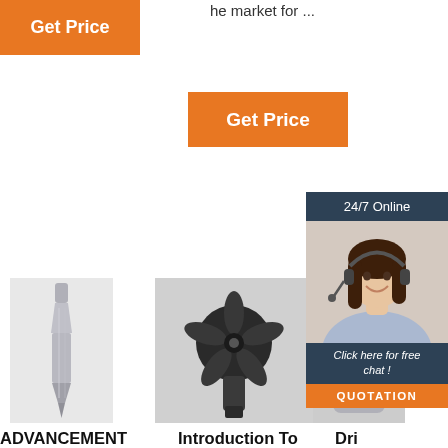[Figure (other): Orange 'Get Price' button at top left]
he market for ...
[Figure (other): Orange 'Get Price' button in center]
[Figure (other): 24/7 Online chat widget with agent photo, 'Click here for free chat!' and QUOTATION button]
[Figure (photo): Photo of a drill bit / cutting tool product - silver metal part]
[Figure (photo): Photo of a black drill bit product from below]
[Figure (photo): Partial photo of a metal drilling component]
ADVANCEMENT ON DRILLING TECHNOLOGY IN
Introduction To Oil&Gas Well Drilling - Oil&Gas Portal
Dri For The Oil And Gas Industry
2019-7-3u2002·u
The drilling rigs a
2021-9-26u2002·u2002Drilling bit